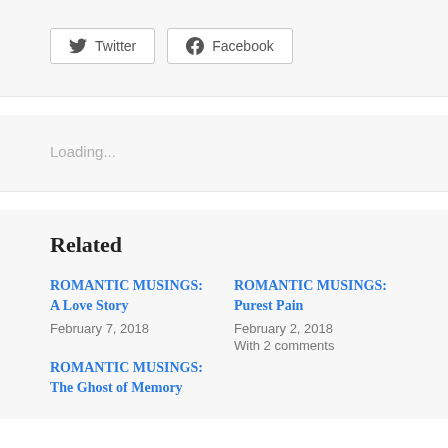[Figure (other): Social share buttons: Twitter and Facebook]
Loading...
Related
ROMANTIC MUSINGS: A Love Story
February 7, 2018
ROMANTIC MUSINGS: Purest Pain
February 2, 2018
With 2 comments
ROMANTIC MUSINGS: The Ghost of Memory